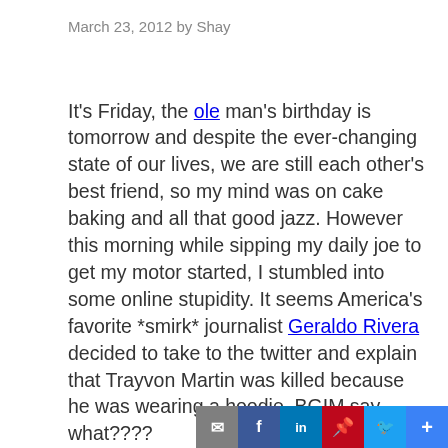March 23, 2012 by Shay
It's Friday, the ole man's birthday is tomorrow and despite the ever-changing state of our lives, we are still each other's best friend, so my mind was on cake baking and all that good jazz. However this morning while sipping my daily joe to get my motor started, I stumbled into some online stupidity. It seems America's favorite *smirk* journalist Geraldo Rivera decided to take to the twitter and explain that Trayvon Martin was killed because he was wearing a hoodie. BGIM say what????
Of course twitter lit into his ass with all it had but it doesn't take away from the fact that there